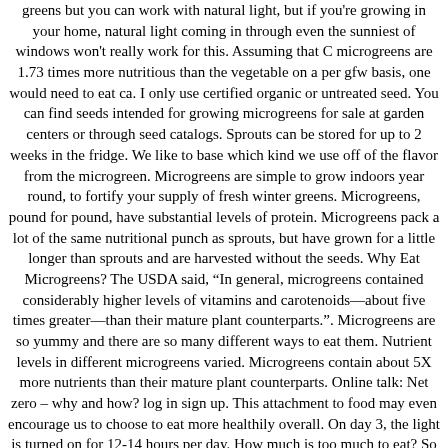greens but you can work with natural light, but if you're growing in your home, natural light coming in through even the sunniest of windows won't really work for this. Assuming that C microgreens are 1.73 times more nutritious than the vegetable on a per gfw basis, one would need to eat ca. I only use certified organic or untreated seed. You can find seeds intended for growing microgreens for sale at garden centers or through seed catalogs. Sprouts can be stored for up to 2 weeks in the fridge. We like to base which kind we use off of the flavor from the microgreen. Microgreens are simple to grow indoors year round, to fortify your supply of fresh winter greens. Microgreens, pound for pound, have substantial levels of protein. Microgreens pack a lot of the same nutritional punch as sprouts, but have grown for a little longer than sprouts and are harvested without the seeds. Why Eat Microgreens? The USDA said, “In general, microgreens contained considerably higher levels of vitamins and carotenoids—about five times greater—than their mature plant counterparts.”. Microgreens are so yummy and there are so many different ways to eat them. Nutrient levels in different microgreens varied. Microgreens contain about 5X more nutrients than their mature plant counterparts. Online talk: Net zero – why and how? log in sign up. This attachment to food may even encourage us to choose to eat more healthily overall. On day 3, the light is turned on for 12-14 hours per day. How much is too much to eat? So much so that they are used in fine dining restaurants to enhance the flavor of the food that clients eat. If it’s good to eat your vegetables, it’s even better to